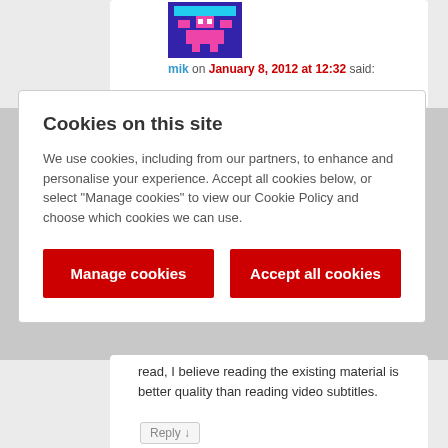mik on January 8, 2012 at 12:32 said:
Cookies on this site
We use cookies, including from our partners, to enhance and personalise your experience. Accept all cookies below, or select “Manage cookies” to view our Cookie Policy and choose which cookies we can use.
Manage cookies
Accept all cookies
read, I believe reading the existing material is better quality than reading video subtitles.
Reply ↓